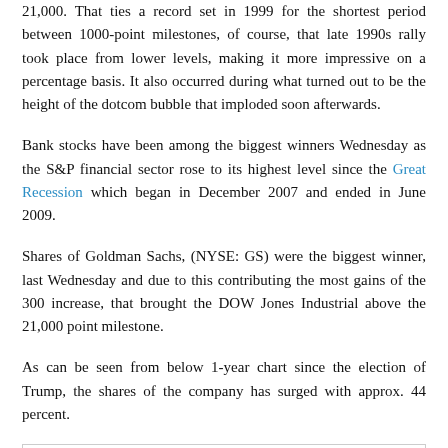21,000. That ties a record set in 1999 for the shortest period between 1000-point milestones, of course, that late 1990s rally took place from lower levels, making it more impressive on a percentage basis. It also occurred during what turned out to be the height of the dotcom bubble that imploded soon afterwards.
Bank stocks have been among the biggest winners Wednesday as the S&P financial sector rose to its highest level since the Great Recession which began in December 2007 and ended in June 2009.
Shares of Goldman Sachs, (NYSE: GS) were the biggest winner, last Wednesday and due to this contributing the most gains of the 300 increase, that brought the DOW Jones Industrial above the 21,000 point milestone.
As can be seen from below 1-year chart since the election of Trump, the shares of the company has surged with approx. 44 percent.
[Figure (screenshot): Screenshot of The Goldman Sachs Group, Inc. (GS) stock chart from NYSE Real Time Price. Shows ticker info: 254.00 2.94 (1.17%) and toolbar with Add Indicators, Compare, 1y, Area, Refresh, Reset options. A partial 1-year line chart is visible at the bottom.]